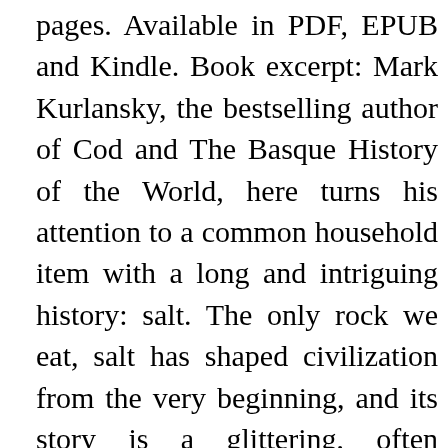pages. Available in PDF, EPUB and Kindle. Book excerpt: Mark Kurlansky, the bestselling author of Cod and The Basque History of the World, here turns his attention to a common household item with a long and intriguing history: salt. The only rock we eat, salt has shaped civilization from the very beginning, and its story is a glittering, often surprising part of the history of humankind. A substance so valuable it served as currency, salt has influenced the establishment of trade routes and cities, provoked and financed wars, secured empires, and inspired revolutions. Populated by colorful characters and filled